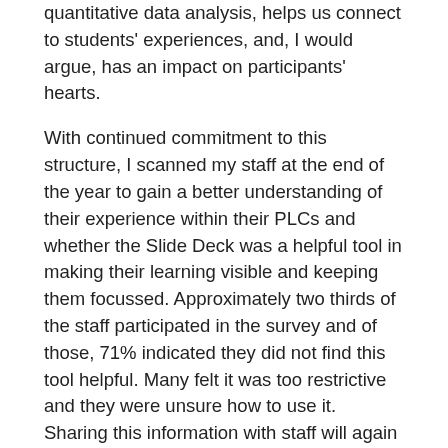quantitative data analysis, helps us connect to students' experiences, and, I would argue, has an impact on participants' hearts.
With continued commitment to this structure, I scanned my staff at the end of the year to gain a better understanding of their experience within their PLCs and whether the Slide Deck was a helpful tool in making their learning visible and keeping them focussed. Approximately two thirds of the staff participated in the survey and of those, 71% indicated they did not find this tool helpful. Many felt it was too restrictive and they were unsure how to use it. Sharing this information with staff will again illustrate my own commitment to being curious.
The Next Steps in the Journey
I return to the initial rationale for why establishing a culture of curiosity is so essential. The OECD has recognized that global competency comprised of skills, knowledge and attitudes is something all citizens will need to thrive in “culturally diverse and